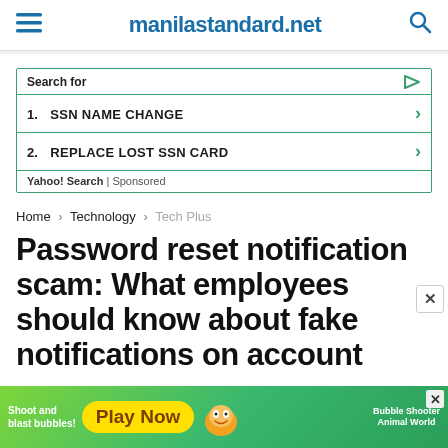manilastandard.net
[Figure (screenshot): Sponsored search ad box with 'Search for' header, two items: 1. SSN NAME CHANGE, 2. REPLACE LOST SSN CARD. Yahoo! Search | Sponsored footer.]
Home > Technology > Tech Plus
Password reset notification scam: What employees should know about fake notifications on account
[Figure (screenshot): Green mobile game advertisement banner: 'Shoot and blast bubbles! Play Now' with cartoon animal characters. Bubble Shooter Animal World.]